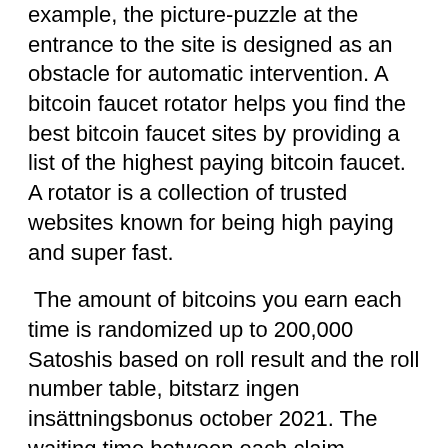example, the picture-puzzle at the entrance to the site is designed as an obstacle for automatic intervention. A bitcoin faucet rotator helps you find the best bitcoin faucet sites by providing a list of the highest paying bitcoin faucet. A rotator is a collection of trusted websites known for being high paying and super fast.
The amount of bitcoins you earn each time is randomized up to 200,000 Satoshis based on roll result and the roll number table, bitstarz ingen insättningsbonus october 2021. The waiting time between each claim depends on your level. Completing the CAPTCHA proves you are a human and gives you temporary access to the web property, bitstarz ingen innskuddsbonus for existing players. What can I do to prevent this in the future? Asi que, si llegas a pagar, no